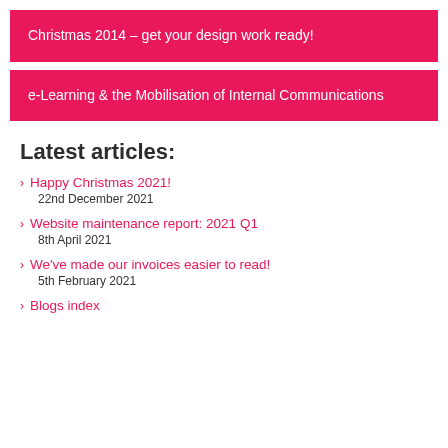Christmas 2014 – get your design work ready!
e-Learning & the Mobilisation of Internal Communications
Latest articles:
Happy Christmas 2021!
22nd December 2021
Website maintenance report: 2021 Q1
8th April 2021
We've made our invoices easier to read!
5th February 2021
Blogs index